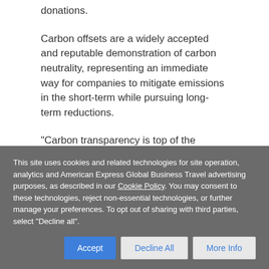donations.
Carbon offsets are a widely accepted and reputable demonstration of carbon neutrality, representing an immediate way for companies to mitigate emissions in the short-term while pursuing long-term reductions.
“Carbon transparency is top of the agenda for our business partners globally as we all collectively prepare for a low-carbon future,” said Si-Yeon Kim, GBT’s Chief Risk & Compliance Officer and
This site uses cookies and related technologies for site operation, analytics and American Express Global Business Travel advertising purposes, as described in our Cookie Policy. You may consent to these technologies, reject non-essential technologies, or further manage your preferences. To opt out of sharing with third parties, select "Decline all".